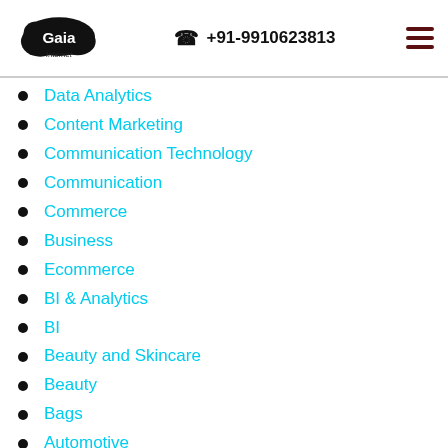Gaia Internet | +91-9910623813
Data Analytics
Content Marketing
Communication Technology
Communication
Commerce
Business
Ecommerce
BI & Analytics
BI
Beauty and Skincare
Beauty
Bags
Automotive
Artificial Intelligence
Art